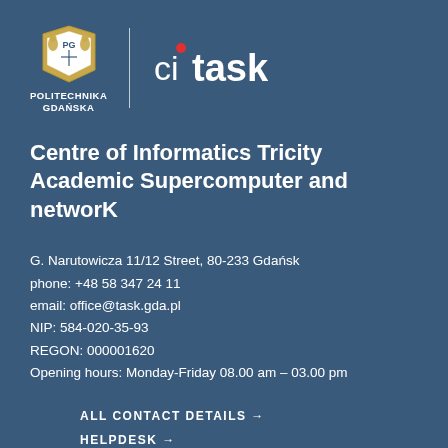[Figure (logo): Politechnika Gdańska shield/crest emblem with lions and 'PG' lettering, alongside CI TASK logo with red dot]
Centre of Informatics Tricity Academic Supercomputer and networK
G. Narutowicza 11/12 Street, 80-233 Gdańsk
phone: +48 58 347 24 11
email: office@task.gda.pl
NIP: 584-020-35-93
REGON: 000001620
Opening hours: Monday-Friday 08.00 am – 03.00 pm
ALL CONTACT DETAILS →
HELPDESK →
COMPANY RESIDENCE →
VISITING →